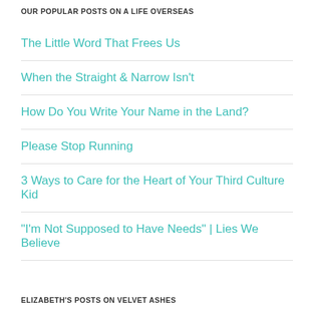OUR POPULAR POSTS ON A LIFE OVERSEAS
The Little Word That Frees Us
When the Straight & Narrow Isn't
How Do You Write Your Name in the Land?
Please Stop Running
3 Ways to Care for the Heart of Your Third Culture Kid
"I'm Not Supposed to Have Needs" | Lies We Believe
ELIZABETH'S POSTS ON VELVET ASHES